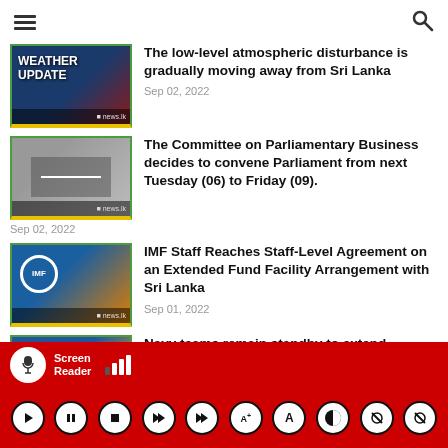Navigation bar with hamburger menu and search icon
The low-level atmospheric disturbance is gradually moving away from Sri Lanka
Sep 02, 2022
The Committee on Parliamentary Business decides to convene Parliament from next Tuesday (06) to Friday (09).
Sep 02, 2022
IMF Staff Reaches Staff-Level Agreement on an Extended Fund Facility Arrangement with Sri Lanka
Sep 01, 2022
Navy teams remain standby to extend
Screen Reader accessibility controls bar